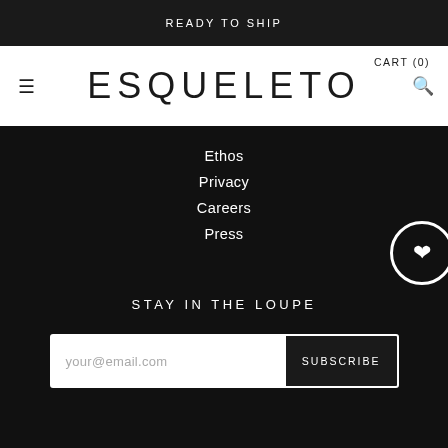READY TO SHIP
CART (0)
ESQUELETO
Ethos
Privacy
Careers
Press
STAY IN THE LOUPE
your@email.com
SUBSCRIBE